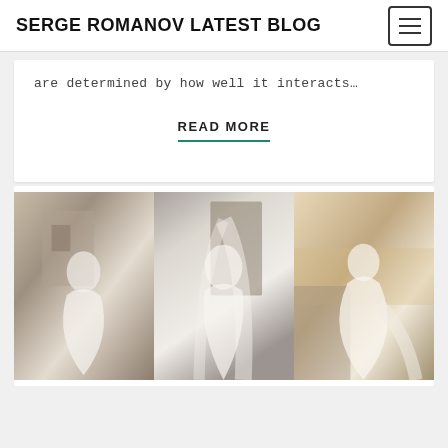SERGE ROMANOV LATEST BLOG
are determined by how well it interacts…
READ MORE
[Figure (photo): Three brides in lace wedding dresses: left bride in long-sleeve A-line gown outside stone building; center bride in strapless fitted gown with long veil; right bride in spaghetti-strap A-line gown outdoors in warm light.]